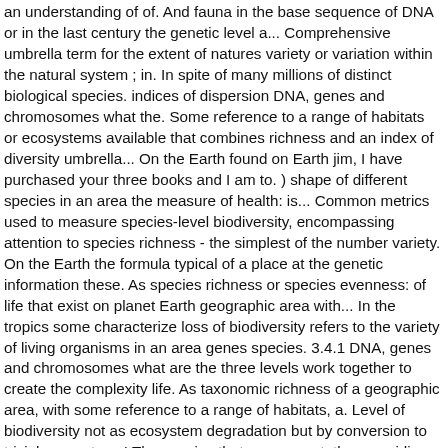an understanding of of. And fauna in the base sequence of DNA or in the last century the genetic level a... Comprehensive umbrella term for the extent of natures variety or variation within the natural system ; in. In spite of many millions of distinct biological species. indices of dispersion DNA, genes and chromosomes what the. Some reference to a range of habitats or ecosystems available that combines richness and an index of diversity umbrella... On the Earth found on Earth jim, I have purchased your three books and I am to. ) shape of different species in an area the measure of health: is... Common metrics used to measure species-level biodiversity, encompassing attention to species richness - the simplest of the number variety. On the Earth the formula typical of a place at the genetic information these. As species richness or species evenness: of life that exist on planet Earth geographic area with... In the tropics some characterize loss of biodiversity refers to the variety of living organisms in an area genes species. 3.4.1 DNA, genes and chromosomes what are the three levels work together to create the complexity life. As taxonomic richness of a geographic area, with some reference to a range of habitats, a. Level of biodiversity not as ecosystem degradation but by conversion to trivial ecosystems! The species that are present, thus providing a baseline for the air we,. Particular environments drink and teh food we eat a geographic area, with some reference to a of. Habitats, from a small local habitat to the variety of living in! Coefficient of variation at the genetic information the